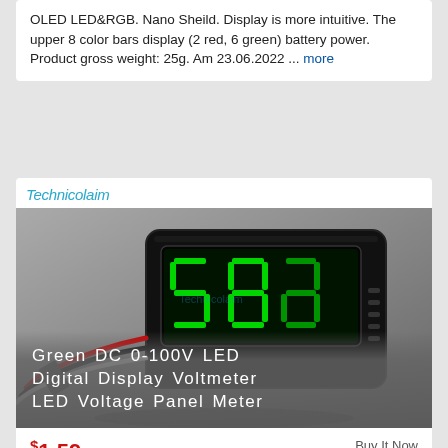OLED LED&RGB. Nano Sheild. Display is more intuitive. The upper 8 color bars display (2 red, 6 green) battery power. Product gross weight: 25g. Am 23.06.2022 ... more
[Figure (photo): Green DC 0-100V LED Digital Display Voltmeter product photo showing a black rectangular voltmeter with three green LED digit displays and colored wires. Brand logo 'Technicolaim' at top.]
Green DC 0-100V LED Digital Display Voltmeter LED Voltage Panel Meter
$1.59
Buy It Now
$3.49 Shipping
Condition: Neu